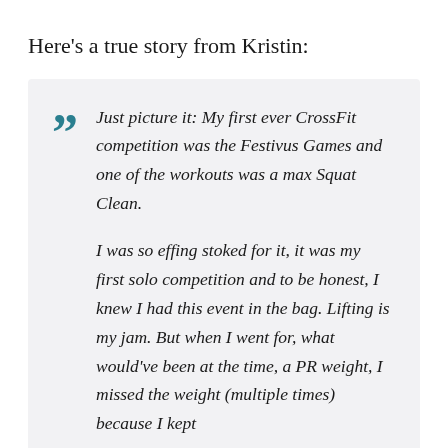Here’s a true story from Kristin:
Just picture it: My first ever CrossFit competition was the Festivus Games and one of the workouts was a max Squat Clean.

I was so effing stoked for it, it was my first solo competition and to be honest, I knew I had this event in the bag. Lifting is my jam. But when I went for, what would’ve been at the time, a PR weight, I missed the weight (multiple times) because I kept